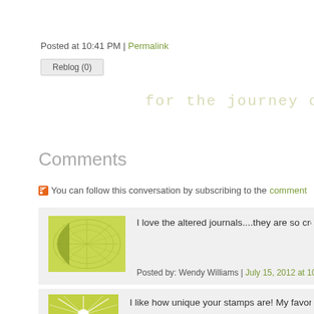Posted at 10:41 PM | Permalink
Reblog (0)
for the journey of
Comments
You can follow this conversation by subscribing to the comment
I love the altered journals....they are so creative and hearth
Posted by: Wendy Williams | July 15, 2012 at 10:18 PM
I like how unique your stamps are! My favorite is You've B